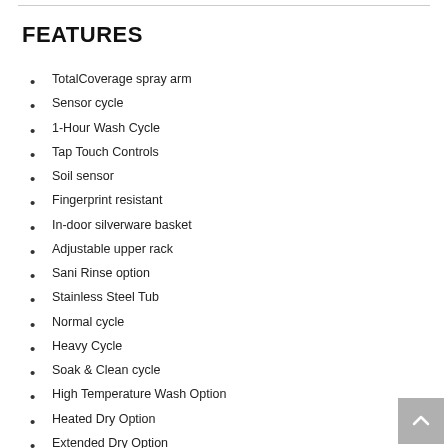FEATURES
TotalCoverage spray arm
Sensor cycle
1-Hour Wash Cycle
Tap Touch Controls
Soil sensor
Fingerprint resistant
In-door silverware basket
Adjustable upper rack
Sani Rinse option
Stainless Steel Tub
Normal cycle
Heavy Cycle
Soak & Clean cycle
High Temperature Wash Option
Heated Dry Option
Extended Dry Option
Cycle Status Indicator
ENERGY STAR® Certified
Industry's best selling dishwasher brand